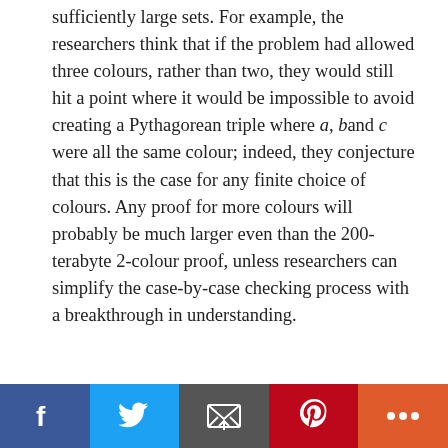sufficiently large sets. For example, the researchers think that if the problem had allowed three colours, rather than two, they would still hit a point where it would be impossible to avoid creating a Pythagorean triple where a, b and c were all the same colour; indeed, they conjecture that this is the case for any finite choice of colours. Any proof for more colours will probably be much larger even than the 200-terabyte 2-colour proof, unless researchers can simplify the case-by-case checking process with a breakthrough in understanding.
[Figure (photo): Circular portrait photo of Shrey Kapoor, a young man wearing glasses]
SHREY KAPOOR — Shrey Kapoor is a Tech-Enthusiast, Harvard certified